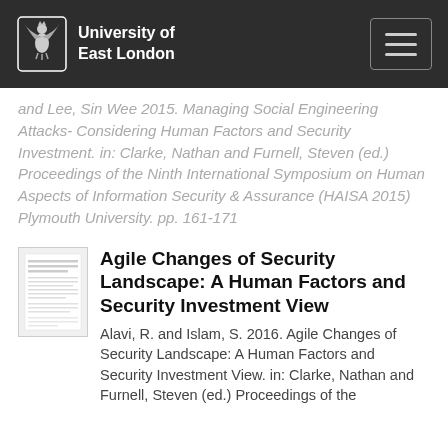University of East London
and Lee, Sin Wee 2015. Managing Social Engineering Attacks- Considering Human Factors and Security Investment. in: Clarke, Nathan and Furnell, Steven (ed.) Proceedings of the Ninth International Symposium on Human Aspects of Information Security & Assurance (HAISA 2015) Plymouth University. pp. 161-171
[Figure (photo): Thumbnail image of a document/paper page]
Agile Changes of Security Landscape: A Human Factors and Security Investment View
Alavi, R. and Islam, S. 2016. Agile Changes of Security Landscape: A Human Factors and Security Investment View. in: Clarke, Nathan and Furnell, Steven (ed.) Proceedings of the